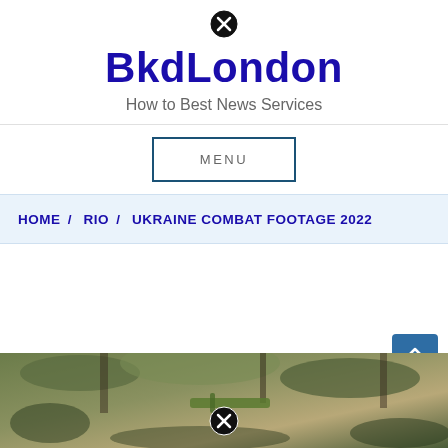[Figure (other): Close/dismiss icon (circle with X) at top center]
BkdLondon
How to Best News Services
MENU
HOME /  RIO /  UKRAINE COMBAT FOOTAGE 2022
[Figure (photo): Camouflage/forest combat scene photo at bottom of page with close icon overlay]
[Figure (other): Blue scroll-to-top button with double chevron up arrow]